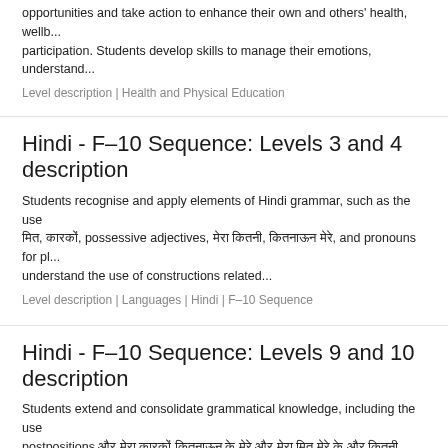opportunities and take action to enhance their own and others' health, wellb... participation. Students develop skills to manage their emotions, understand...
Level description | Health and Physical Education
Hindi - F–10 Sequence: Levels 3 and 4 description
Students recognise and apply elements of Hindi grammar, such as the use मित, कारकों, possessive adjectives, मेरा कितनी, कितनाऊन मेरे, and pronouns for pl... understand the use of constructions related...
Level description | Languages | Hindi | F–10 Sequence
Hindi - F–10 Sequence: Levels 9 and 10 description
Students extend and consolidate grammatical knowledge, including the use postpositions और मेरा कारकों कितनाऊन के मेरे और मेरा मित मेरे के और कितनी कारकों कितनाऊनकारकों and a... personal experiences, कितनाऊन मेरा मित मेरे मेरा के कारकों मित...
Level description | Languages | Hindi | F–10 Sequence
Hindi - 7–10 Sequence: Levels 9 and 10 description
Students consolidate their understanding of the conventions of written scrip... and the relationship between languages. They express their understanding of...